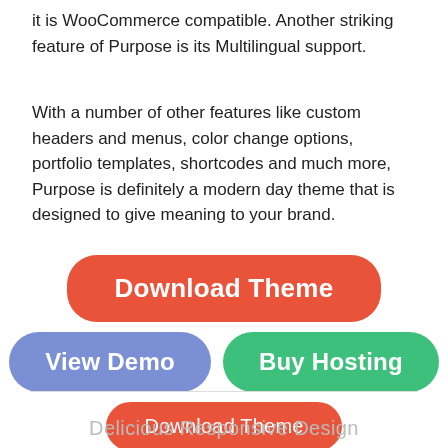it is WooCommerce compatible. Another striking feature of Purpose is its Multilingual support.
With a number of other features like custom headers and menus, color change options, portfolio templates, shortcodes and much more, Purpose is definitely a modern day theme that is designed to give meaning to your brand.
[Figure (screenshot): A set of styled buttons: a large red 'Download Theme' button, a blue 'View Demo' button and a green 'Buy Hosting' button on the second row, then a smaller red 'Download Theme' button, and a smaller blue 'View Demo' button.]
Delicious Responsive Design